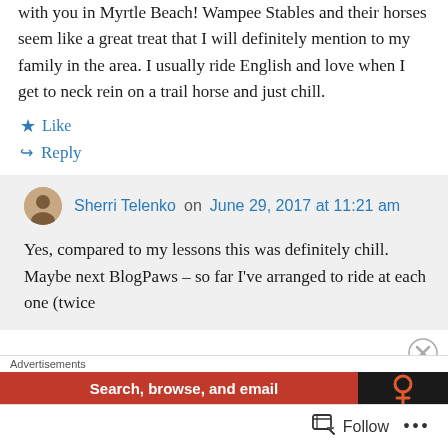with you in Myrtle Beach! Wampee Stables and their horses seem like a great treat that I will definitely mention to my family in the area. I usually ride English and love when I get to neck rein on a trail horse and just chill.
★ Like
↪ Reply
Sherri Telenko on June 29, 2017 at 11:21 am
Yes, compared to my lessons this was definitely chill. Maybe next BlogPaws – so far I've arranged to ride at each one (twice
Advertisements
Search, browse, and email
Follow